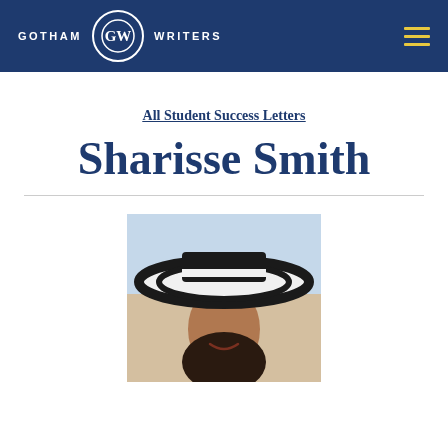GOTHAM WRITERS
All Student Success Letters
Sharisse Smith
[Figure (photo): Portrait photo of Sharisse Smith wearing a wide-brimmed black and white striped hat, smiling, with a beach/sky background]